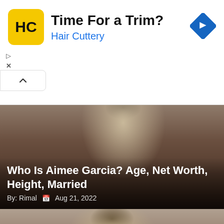[Figure (screenshot): Hair Cuttery advertisement banner with yellow HC logo, bold title 'Time For a Trim?', subtitle 'Hair Cuttery' in blue, and a blue diamond navigation arrow icon on the right. Small play and X controls on the left side.]
[Figure (photo): Photo of Aimee Garcia, a woman with dark wavy hair and hoop earrings, wearing a red outfit, photographed against a light background.]
Who Is Aimee Garcia? Age, Net Worth, Height, Married
By: Rimal  Aug 21, 2022
[Figure (photo): Photo of a woman with straight brown hair looking directly at the camera against a light gray/blue background.]